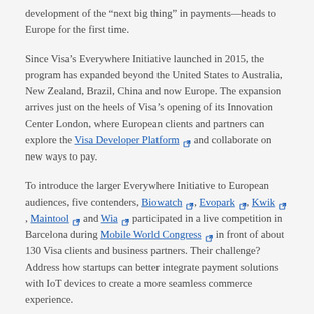development of the “next big thing” in payments—heads to Europe for the first time.
Since Visa’s Everywhere Initiative launched in 2015, the program has expanded beyond the United States to Australia, New Zealand, Brazil, China and now Europe. The expansion arrives just on the heels of Visa’s opening of its Innovation Center London, where European clients and partners can explore the Visa Developer Platform and collaborate on new ways to pay.
To introduce the larger Everywhere Initiative to European audiences, five contenders, Biowatch, Evopark, Kwik, Maintool and Wia participated in a live competition in Barcelona during Mobile World Congress in front of about 130 Visa clients and business partners. Their challenge? Address how startups can better integrate payment solutions with IoT devices to create a more seamless commerce experience.
“We’re thrilled to launch the Visa Everywhere Initiative to Europe…